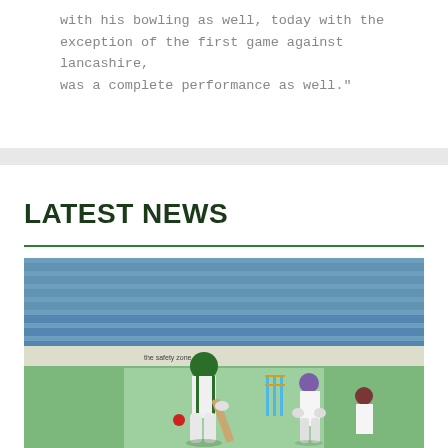with his bowling as well, today with the exception of the first game against lancashire, was a complete performance as well."
LATEST NEWS
[Figure (photo): Cricket match photo showing a batsman in green kit playing a shot with wicketkeeper and fielder behind the stumps on a cricket ground with blue stadium seats in the background.]